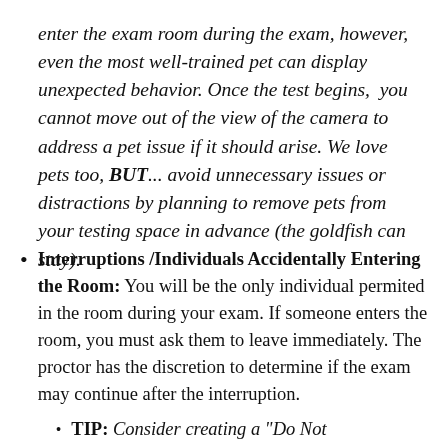enter the exam room during the exam, however, even the most well-trained pet can display unexpected behavior. Once the test begins, you cannot move out of the view of the camera to address a pet issue if it should arise. We love pets too, BUT... avoid unnecessary issues or distractions by planning to remove pets from your testing space in advance (the goldfish can stay).
Interruptions /Individuals Accidentally Entering the Room: You will be the only individual permited in the room during your exam. If someone enters the room, you must ask them to leave immediately. The proctor has the discretion to determine if the exam may continue after the interruption.
TIP: Consider creating a "Do Not